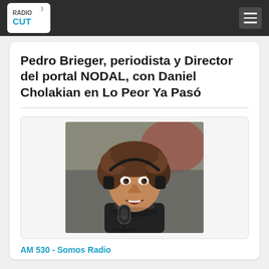Radio Cut
Pedro Brieger, periodista y Director del portal NODAL, con Daniel Cholakian en Lo Peor Ya Pasó
[Figure (photo): Photo of Pedro Brieger, a middle-aged man with curly brown hair, wearing headphones and speaking at a microphone in a radio studio, wearing a dark turtleneck sweater.]
AM 530 - Somos Radio